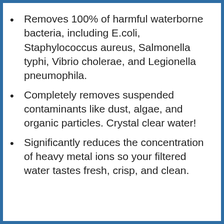Removes 100% of harmful waterborne bacteria, including E.coli, Staphylococcus aureus, Salmonella typhi, Vibrio cholerae, and Legionella pneumophila.
Completely removes suspended contaminants like dust, algae, and organic particles. Crystal clear water!
Significantly reduces the concentration of heavy metal ions so your filtered water tastes fresh, crisp, and clean.